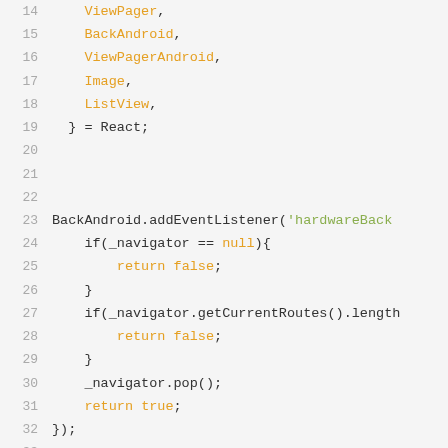[Figure (screenshot): Code snippet showing JavaScript/React Native code with line numbers 14-33. Lines show destructured React components (ViewPager, BackAndroid, ViewPagerAndroid, Image, ListView) and a BackAndroid.addEventListener call with navigator logic using null check, getCurrentRoutes().length check, navigator.pop(), and return statements.]